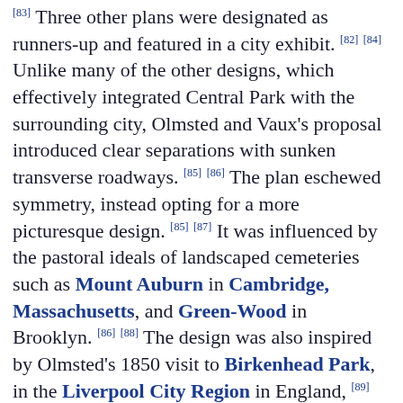[83] Three other plans were designated as runners-up and featured in a city exhibit. [82][84] Unlike many of the other designs, which effectively integrated Central Park with the surrounding city, Olmsted and Vaux's proposal introduced clear separations with sunken transverse roadways. [85][86] The plan eschewed symmetry, instead opting for a more picturesque design. [85][87] It was influenced by the pastoral ideals of landscaped cemeteries such as Mount Auburn in Cambridge, Massachusetts, and Green-Wood in Brooklyn. [86][88] The design was also inspired by Olmsted's 1850 visit to Birkenhead Park, in the Liverpool City Region in England, [89] which is generally acknowledged as the first publicly funded civil park in the world. [90][91][92] According to Olmsted, the park was "of great importance as the first real Park made in this country—a democratic development of the